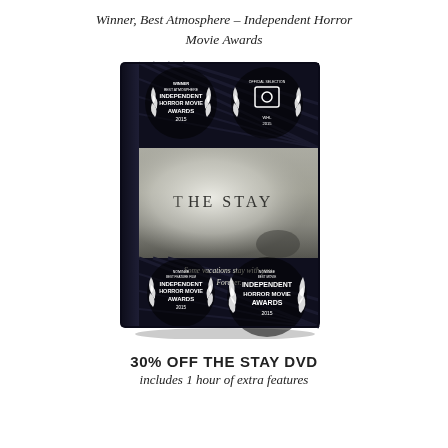Winner, Best Atmosphere – Independent Horror Movie Awards
[Figure (photo): DVD case for 'The Stay' horror film, showing award laurels for Independent Horror Movie Awards 2015 (Winner Best Atmosphere, Official Selection, Nominee Best Feature Film, Nominee Best Movie) and tagline 'Some vacations stay with you. Forever.']
30% OFF THE STAY DVD
includes 1 hour of extra features